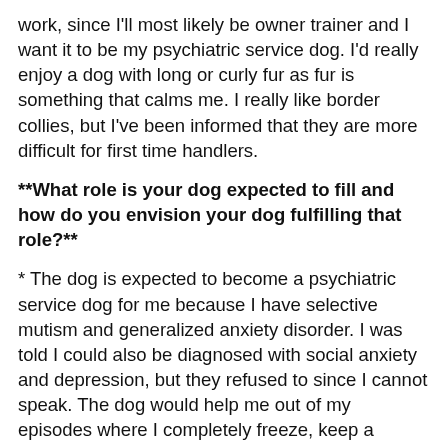work, since I'll most likely be owner trainer and I want it to be my psychiatric service dog. I'd really enjoy a dog with long or curly fur as fur is something that calms me. I really like border collies, but I've been informed that they are more difficult for first time handlers.
**What role is your dog expected to fill and how do you envision your dog fulfilling that role?**
* The dog is expected to become a psychiatric service dog for me because I have selective mutism and generalized anxiety disorder. I was told I could also be diagnosed with social anxiety and depression, but they refused to since I cannot speak. The dog would help me out of my episodes where I completely freeze, keep a distance between me and others, get me to be able to go where I need to go (I often find myself stuck in a room out of fear), get the attention of someone that I need when I can't, provide deep pressure therapy, and other things to help me in daily life.
**What experience do you have owning dogs? How about training dogs?** Have you been the primary caretaker for the dog? If so, what breed was it?